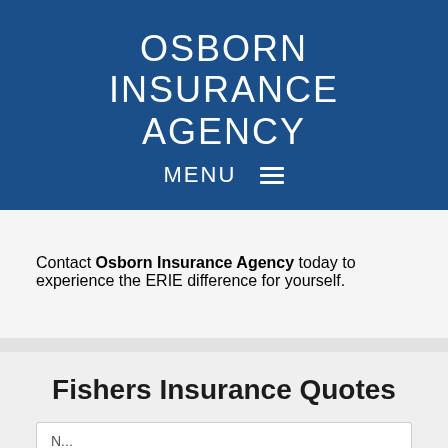OSBORN INSURANCE AGENCY
MENU ☰
Contact Osborn Insurance Agency today to experience the ERIE difference for yourself.
Fishers Insurance Quotes